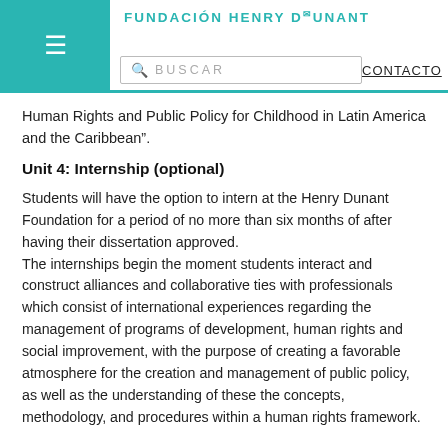Fundación Henry Dunant — BUSCAR — CONTACTO
Human Rights and Public Policy for Childhood in Latin America and the Caribbean".
Unit 4: Internship (optional)
Students will have the option to intern at the Henry Dunant Foundation for a period of no more than six months of after having their dissertation approved.
The internships begin the moment students interact and construct alliances and collaborative ties with professionals which consist of international experiences regarding the management of programs of development, human rights and social improvement, with the purpose of creating a favorable atmosphere for the creation and management of public policy, as well as the understanding of these the concepts, methodology, and procedures within a human rights framework.